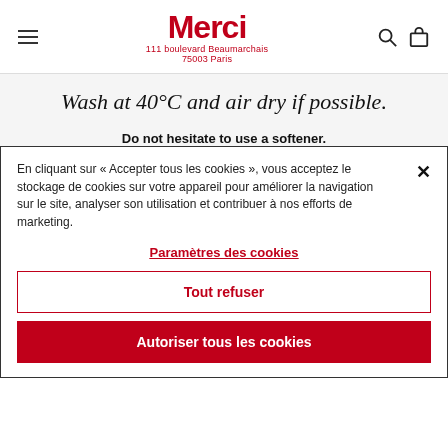Merci — 111 boulevard Beaumarchais, 75003 Paris
Wash at 40°C and air dry if possible.
Do not hesitate to use a softener.
En cliquant sur « Accepter tous les cookies », vous acceptez le stockage de cookies sur votre appareil pour améliorer la navigation sur le site, analyser son utilisation et contribuer à nos efforts de marketing.
Paramètres des cookies
Tout refuser
Autoriser tous les cookies